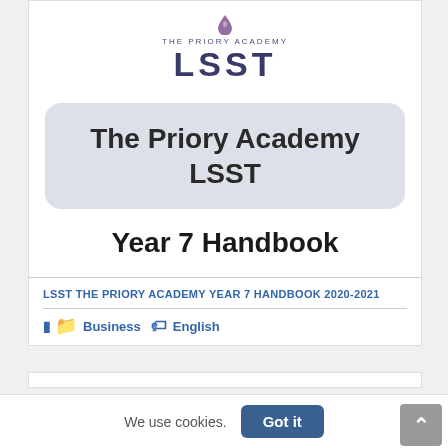[Figure (logo): The Priory Academy LSST logo — droplet icon above text 'THE PRIORY ACADEMY' in small caps and 'LSST' in large bold letters]
The Priory Academy LSST
Year 7 Handbook
LSST THE PRIORY ACADEMY YEAR 7 HANDBOOK 2020-2021
Business  English
We use cookies.